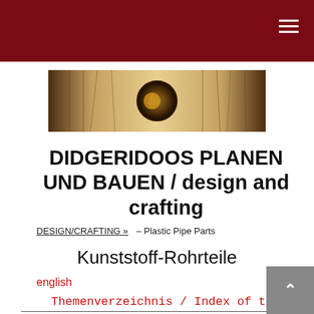[Figure (logo): Didgeridoo website banner logo with golden orb/moon symbol centered on a brown/golden blurred background suggesting pipes or reeds]
DIDGERIDOOS PLANEN UND BAUEN / design and crafting
DESIGN/CRAFTING » – Plastic Pipe Parts
Kunststoff-Rohrteile
english
Themenverzeichnis / Index of topics